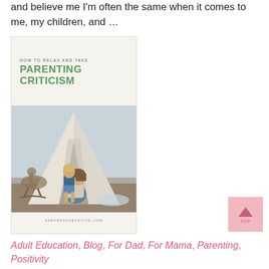and believe me I'm often the same when it comes to me, my children, and …
[Figure (illustration): Blog post card image with text 'HOW TO RELAX AND TAKE PARENTING CRITICISM' in green on cream background, with a photo of a mother and toddler sitting inside a white teepee tent. Footer reads SARAHSSAGEADVICE.COM]
Adult Education, Blog, For Dad, For Mama, Parenting, Positivity